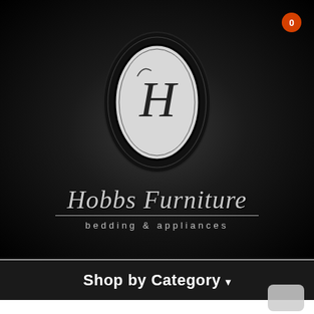[Figure (logo): Hobbs Furniture logo with oval emblem containing decorative H monogram, brand name in italic script, and tagline 'bedding & appliances' on dark background]
0
Shop by Category ▾
[Figure (other): Partial scroll button visible at bottom right corner]